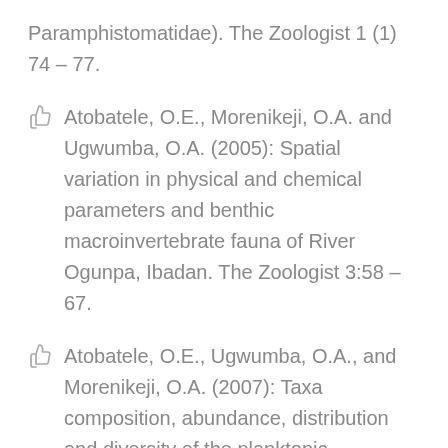Paramphistomatidae). The Zoologist 1 (1) 74 – 77.
Atobatele, O.E., Morenikeji, O.A. and Ugwumba, O.A. (2005): Spatial variation in physical and chemical parameters and benthic macroinvertebrate fauna of River Ogunpa, Ibadan. The Zoologist 3:58 – 67.
Atobatele, O.E., Ugwumba, O.A., and Morenikeji, O.A. (2007): Taxa composition, abundance, distribution and diversity of the planktonic organisms of River Ogunpa, Ibadan, Nigeria. Ife Journal of Science 9: 17–22.